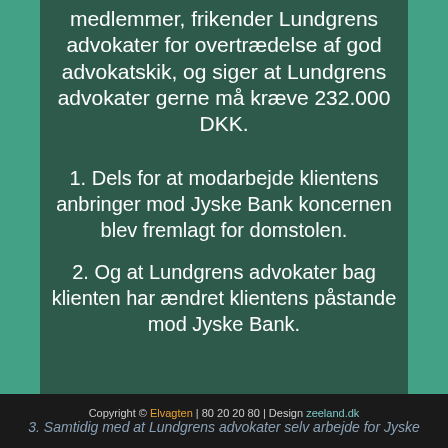medlemmer, frikender Lundgrens advokater for overtrædelse af god advokatskik, og siger at Lundgrens advokater gerne må kræve 232.000 DKK.
1. Dels for at modarbejde klientens anbringer mod Jyske Bank koncernen blev fremlagt for domstolen.
2. Og at Lundgrens advokater bag klienten har ændret klientens påstande mod Jyske Bank.
Copyright © Elvagten | 80 20 20 80 | Design zeeland.dk